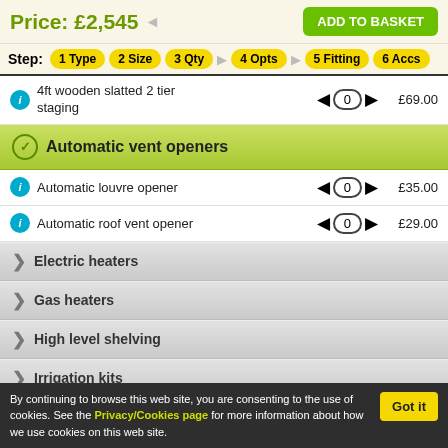Price: £2,545
ADD TO BASKET
Step: 1 Type 2 Size 3 Qty 4 Opts 5 Fitting 6 Accs
4ft wooden slatted 2 tier staging — 0 — £69.00
Automatic vent openers
Automatic louvre opener — 0 — £35.00
Automatic roof vent opener — 0 — £29.00
Electric heaters
Gas heaters
High level shelving
Irrigation kits
By continuing to browse this web site, you are consenting to the use of cookies. See the Privacy/Cookies page for more information about how we use cookies on this web site.